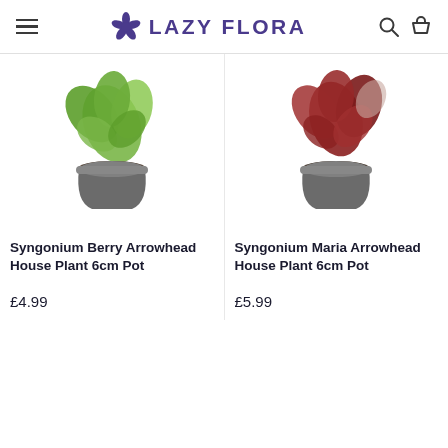LAZY FLORA
[Figure (photo): Syngonium Berry Arrowhead House Plant in a grey 6cm pot with green leaves]
Syngonium Berry Arrowhead House Plant 6cm Pot
£4.99
[Figure (photo): Syngonium Maria Arrowhead House Plant in a grey 6cm pot with red/dark leaves]
Syngonium Maria Arrowhead House Plant 6cm Pot
£5.99